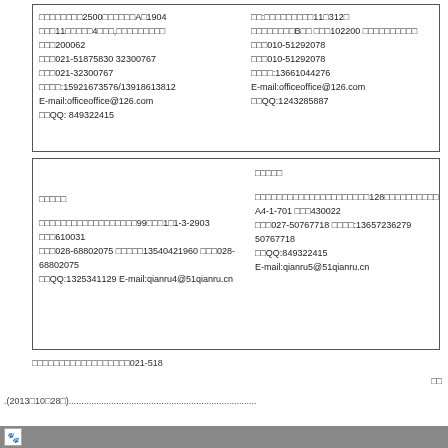□□□□□□□□2500□□□□□□A□1904 □□□11□□□□□4□□□,□□□□□□□□□ □□□200062 □□□021-51875830 32300767 □□□021-32300767 □□□□:15921673576/13918613812 E-mail:officeoffice@126.com □□QQ: 849322415
□□:□□□□□□□□□11□312□ □□□□□□□□B□□ □□□102200 □□□□□□□□□□ □□□010-51292078 □□□010-51292078 □□□□:13661044276 E-mail:officeoffice@126.com □□QQ:1243285887
□□□□□
□□□□□□□□□□□□□□□□□□99□□□1□1-3-2903 □□□610031 □□□028-68802075 □□□□□13540421960 □□□028-68802075 □□QQ:1325341129 E-mail:qianru4@51qianru.cn
□□□□□
□□□□□□□□□□□□□□□□□□□□□128□□□□□□□□□□ A4-1-701 □□□430022 □□□027-50767718 □□□□:13657236279 50767718 □□QQ:849322415 E-mail:qianru5@51qianru.cn
□□□□□□□□□□□□□□□□□□021-518
□□
.(2013□10□28□)...........................................................................